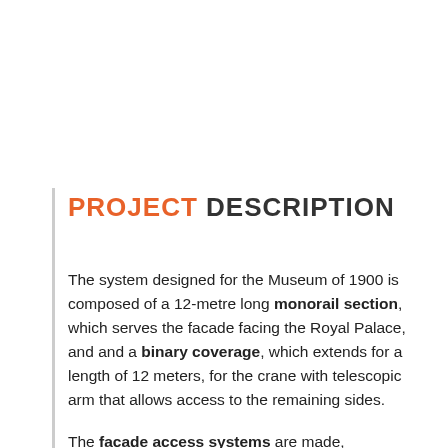PROJECT DESCRIPTION
The system designed for the Museum of 1900 is composed of a 12-metre long monorail section, which serves the facade facing the Royal Palace, and and a binary coverage, which extends for a length of 12 meters, for the crane with telescopic arm that allows access to the remaining sides.
The facade access systems are made, respectively, with Rostek and Cox Gomyl products in international systems for...